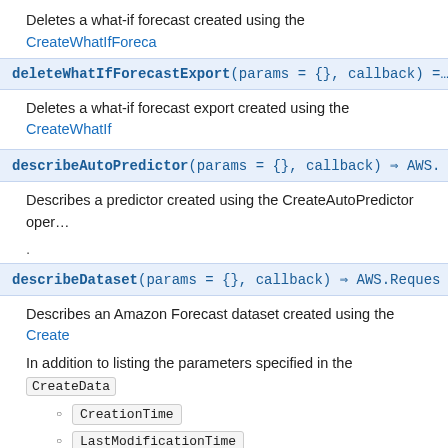Deletes a what-if forecast created using the CreateWhatIfForeca…
deleteWhatIfForecastExport(params = {}, callback) =…
Deletes a what-if forecast export created using the CreateWhatIf…
describeAutoPredictor(params = {}, callback) ⇒ AWS.…
Describes a predictor created using the CreateAutoPredictor oper…
.
describeDataset(params = {}, callback) ⇒ AWS.Reques…
Describes an Amazon Forecast dataset created using the Create…
In addition to listing the parameters specified in the CreateData…
CreationTime
LastModificationTime
Status
.
describeDatasetGroup(params = {}, callback) ⇒ AWS…